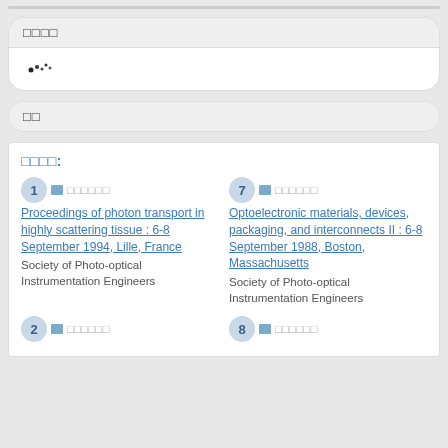□□□□
[Figure (other): Small dot/scatter pattern icon]
□□
□□□□:
1 □□□□□□ Proceedings of photon transport in highly scattering tissue : 6-8 September 1994, Lille, France — Society of Photo-optical Instrumentation Engineers
7 □□□□□□ Optoelectronic materials, devices, packaging, and interconnects II : 6-8 September 1988, Boston, Massachusetts — Society of Photo-optical Instrumentation Engineers
2 □□□□□□
8 □□□□□□